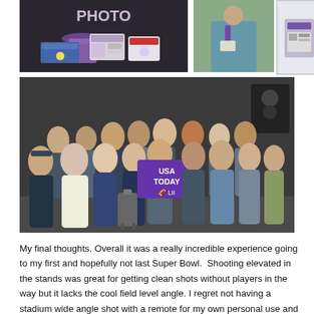[Figure (photo): Three photos in top row: left photo shows Super Bowl press credentials/badges/ticket with a purple lanyard on a surface with 'PHOTO' text; center-right photo shows a person wearing a press credential lanyard (blue shirt visible); far right shows a small thumbnail of credentials close-up.]
[Figure (photo): Group photo of approximately 20 people (USA Today photo team) posing together in front of a dark wall, with one person holding a purple USA TODAY Super Bowl LII sign. People are dressed in winter clothing.]
My final thoughts. Overall it was a really incredible experience going to my first and hopefully not last Super Bowl.  Shooting elevated in the stands was great for getting clean shots without players in the way but it lacks the cool field level angle. I regret not having a stadium wide angle shot with a remote for my own personal use and I felt like I should have taken more photos and